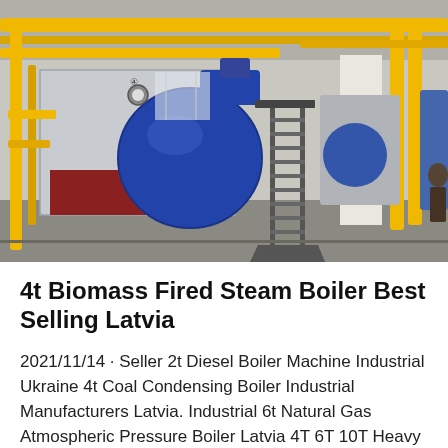[Figure (photo): Industrial boiler room with large blue cylindrical steam boiler, yellow gas pipes running along the ceiling and walls, metal staircase/ladder, and white support columns. Multiple boiler units visible in a large industrial facility.]
4t Biomass Fired Steam Boiler Best Selling Latvia
2021/11/14 · Seller 2t Diesel Boiler Machine Industrial Ukraine 4t Coal Condensing Boiler Industrial Manufacturers Latvia. Industrial 6t Natural Gas Atmospheric Pressure Boiler Latvia 4T 6T 10T Heavy Oil...